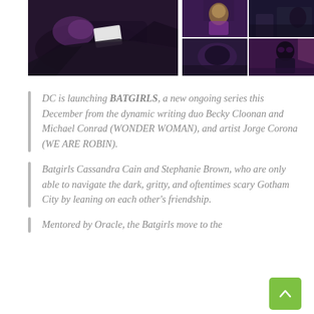[Figure (photo): Left image: comic book art showing gloved hands holding what appears to be dark fabric or a costume, with purple tones. Right image: 2x2 grid of comic panels showing characters in dark, gritty Gotham City settings.]
DC is launching BATGIRLS, a new ongoing series this December from the dynamic writing duo Becky Cloonan and Michael Conrad (WONDER WOMAN), and artist Jorge Corona (WE ARE ROBIN).
Batgirls Cassandra Cain and Stephanie Brown, who are only able to navigate the dark, gritty, and oftentimes scary Gotham City by leaning on each other's friendship.
Mentored by Oracle, the Batgirls move to the